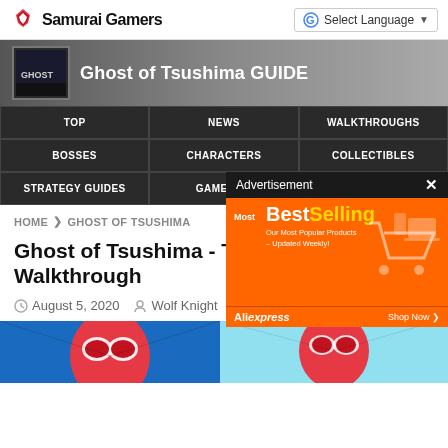Samurai Gamers | Ghost of Tsushima GUIDE | Select Language
TOP | NEWS | WALKTHROUGHS | BOSSES | CHARACTERS | COLLECTIBLES | STRATEGY GUIDES | GAME DAT...
Advertisement ×
[Figure (screenshot): AliExpress BestSelling advertisement banner on orange background]
HOME > GHOST OF TSUSHIMA
Ghost of Tsushima - T... Walkthrough
August 5, 2020  Wolf Knight
[Figure (photo): Two Spider-Man images side by side at the bottom of the page]